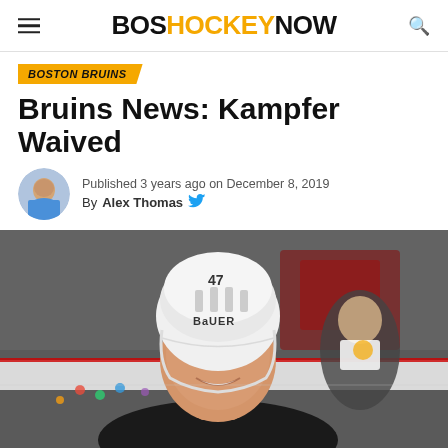BOSHOCKEYNOW
BOSTON BRUINS
Bruins News: Kampfer Waived
Published 3 years ago on December 8, 2019
By Alex Thomas
[Figure (photo): Hockey player wearing a white Bauer helmet with number 47, smiling, with a blurred arena background showing other players in Bruins uniforms]